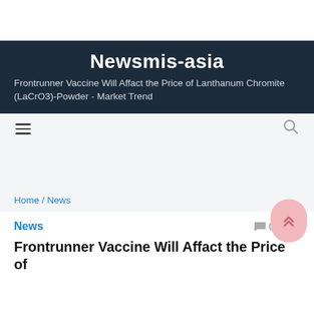Newsmis-asia
Frontrunner Vaccine Will Affact the Price of Lanthanum Chromite (LaCrO3)-Powder - Market Trend
Home / News
News
Frontrunner Vaccine Will Affact the Price of